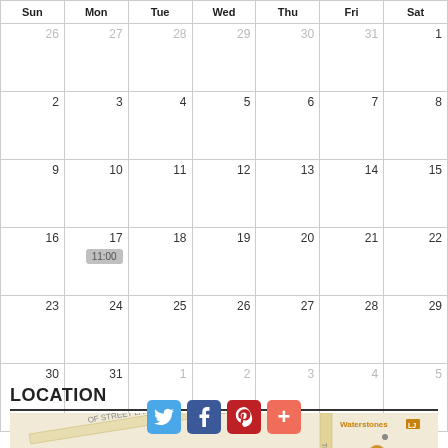| Sun | Mon | Tue | Wed | Thu | Fri | Sat |
| --- | --- | --- | --- | --- | --- | --- |
| 26 | 27 | 28 | 29 | 30 | 31 | 1 |
| 2 | 3 | 4 | 5 | 6 | 7 | 8 |
| 9 | 10 | 11 | 12 | 13 | 14 | 15 |
| 16 | 17
11:00 | 18 | 19 | 20 | 21 | 22 |
| 23 | 24 | 25 | 26 | 27 | 28 | 29 |
| 30 | 31 | 1 | 2 | 3 | 4 | 5 |
LOCATION
[Figure (map): Street map showing location near Street Lane, with Waterstones marker visible]